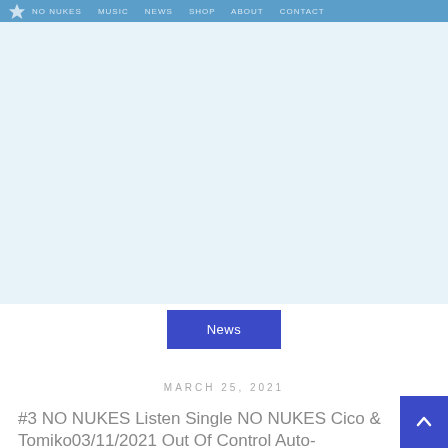★  NO NUKES
[Figure (other): Large white/light blue image area - blank or image not loaded]
News
MARCH 25, 2021
#3 NO NUKES Listen Single NO NUKES Cico & Tomiko03/11/2021 Out Of Control Auto-